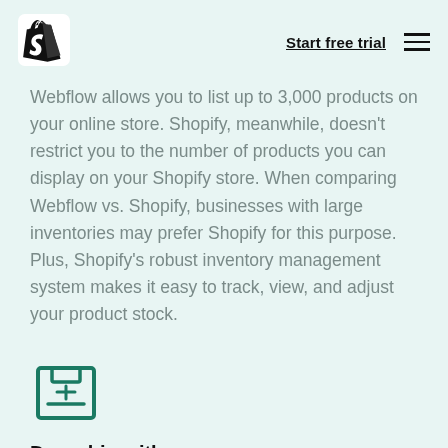Start free trial
Webflow allows you to list up to 3,000 products on your online store. Shopify, meanwhile, doesn't restrict you to the number of products you can display on your Shopify store. When comparing Webflow vs. Shopify, businesses with large inventories may prefer Shopify for this purpose. Plus, Shopify's robust inventory management system makes it easy to track, view, and adjust your product stock.
[Figure (illustration): Teal outlined icon of a shipping/delivery box with a ribbon/label on the front, representing dropshipping.]
Dropship with ease